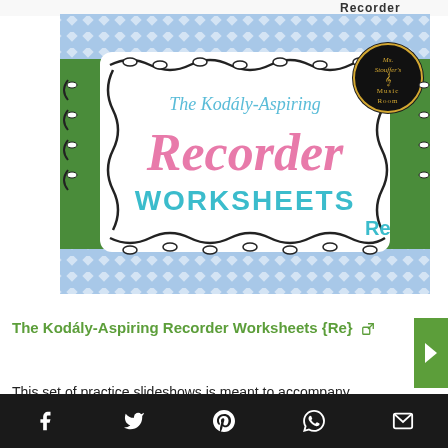[Figure (illustration): Cover image for 'The Kodály-Aspiring Recorder Worksheets {Re}' — decorative worksheet cover with green border, doodle frame, pink cursive text 'Recorder', teal 'WORKSHEETS', smaller teal text 'The Kodály-Aspiring', and 'Re' label. Ms. Stouffer's Music Room logo in top right.]
The Kodály-Aspiring Recorder Worksheets {Re}
This set of practice slideshows is meant to accompany the Kodály-Aspiring Recorder Method. 15 pages of